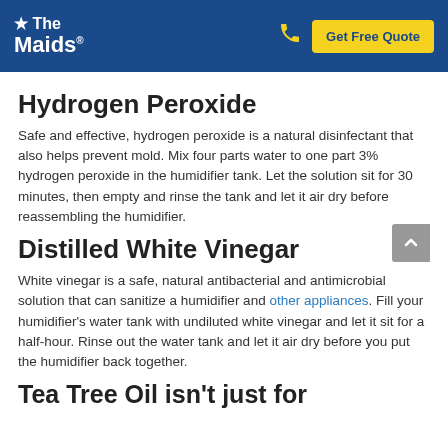The Maids — Get Free Quote header
Hydrogen Peroxide
Safe and effective, hydrogen peroxide is a natural disinfectant that also helps prevent mold. Mix four parts water to one part 3% hydrogen peroxide in the humidifier tank. Let the solution sit for 30 minutes, then empty and rinse the tank and let it air dry before reassembling the humidifier.
Distilled White Vinegar
White vinegar is a safe, natural antibacterial and antimicrobial solution that can sanitize a humidifier and other appliances. Fill your humidifier's water tank with undiluted white vinegar and let it sit for a half-hour. Rinse out the water tank and let it air dry before you put the humidifier back together.
Tea Tree Oil isn't just for